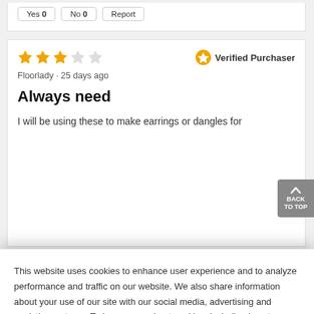Yes 0   No 0   Report
★★★☆☆   Verified Purchaser
Floorlady · 25 days ago
Always need
I will be using these to make earrings or dangles for
This website uses cookies to enhance user experience and to analyze performance and traffic on our website. We also share information about your use of our site with our social media, advertising and analytics partners. To learn more about cookies, including how to disable them, click on Cookie Preferences.
Cookie Preferences
Got It
★★★☆☆   Verified Purchaser
HUBC · a month ago